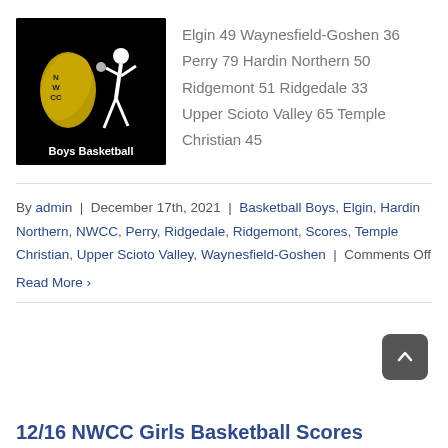[Figure (logo): NWCC Boys Basketball logo — black background with gold Ohio state silhouette and white basketball player figure, text 'Boys Basketball' at bottom]
Elgin 49 Waynesfield-Goshen 36
Perry 79 Hardin Northern 50
Ridgemont 51 Ridgedale 33
Upper Scioto Valley 65 Temple Christian 45
By admin | December 17th, 2021 | Basketball Boys, Elgin, Hardin Northern, NWCC, Perry, Ridgedale, Ridgemont, Scores, Temple Christian, Upper Scioto Valley, Waynesfield-Goshen | Comments Off
Read More ›
12/16 NWCC Girls Basketball Scores